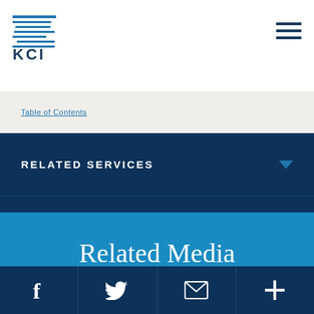[Figure (logo): KCI logo with stylized horizontal lines graphic above 'KCI' text]
RELATED SERVICES
INDUSTRY NEWS
Related Media
Social media links: Facebook, Twitter, Email, Plus